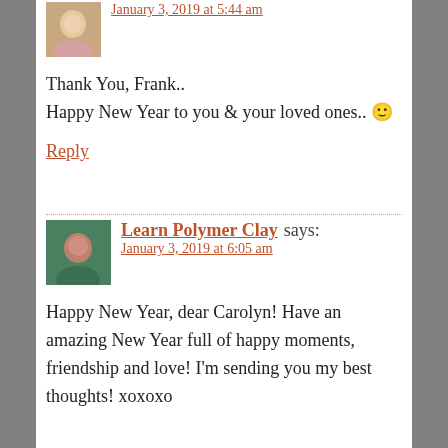January 3, 2019 at 5:44 am
Thank You, Frank..
Happy New Year to you & your loved ones.. 🙂
Reply
Learn Polymer Clay says:
January 3, 2019 at 6:05 am
Happy New Year, dear Carolyn! Have an amazing New Year full of happy moments, friendship and love! I'm sending you my best thoughts! xoxoxo